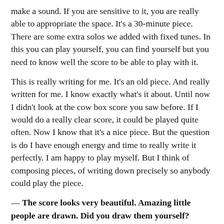make a sound. If you are sensitive to it, you are really able to appropriate the space. It's a 30-minute piece. There are some extra solos we added with fixed tunes. In this you can play yourself, you can find yourself but you need to know well the score to be able to play with it.
This is really writing for me. It's an old piece. And really written for me. I know exactly what's it about. Until now I didn't look at the cow box score you saw before. If I would do a really clear score, it could be played quite often. Now I know that it's a nice piece. But the question is do I have enough energy and time to really write it perfectly. I am happy to play myself. But I think of composing pieces, of writing down precisely so anybody could play the piece.
— The score looks very beautiful. Amazing little people are drawn. Did you draw them yourself?
— Yes!
— It's amazing! When you see the piece, you want to perform it. So, if you are not a percussion player, but an enthusiast for performing pieces, what are